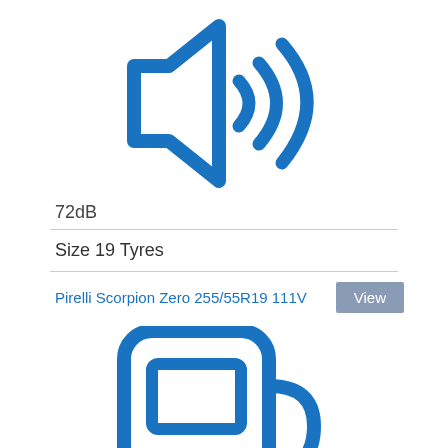[Figure (illustration): Blue outline speaker/sound icon showing a speaker with sound waves emanating from it]
72dB
Size 19 Tyres
Pirelli Scorpion Zero 255/55R19 111V
[Figure (illustration): Blue outline electric vehicle charging pump/station icon]